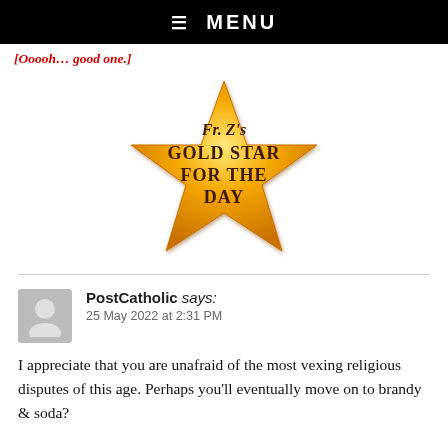☰ MENU
[Ooooh… good one.]
[Figure (illustration): Fr. Z's Gold Star for the Day award image — a gold star with text reading 'Fr. Z's GOLD STAR FOR THE DAY']
PostCatholic says:
25 May 2022 at 2:31 PM
I appreciate that you are unafraid of the most vexing religious disputes of this age. Perhaps you'll eventually move on to brandy & soda?